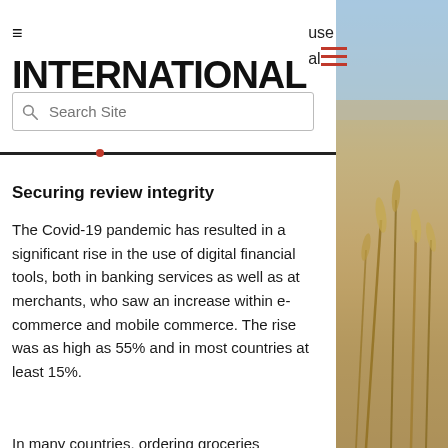THE INTERNATIONAL
use
al
Securing review integrity
The Covid-19 pandemic has resulted in a significant rise in the use of digital financial tools, both in banking services as well as at merchants, who saw an increase within e-commerce and mobile commerce. The rise was as high as 55% and in most countries at least 15%.
In many countries, ordering groceries
[Figure (photo): Blurred photo of wheat or grain stalks in a field with blue sky, warm tones, taken from a close-up perspective]